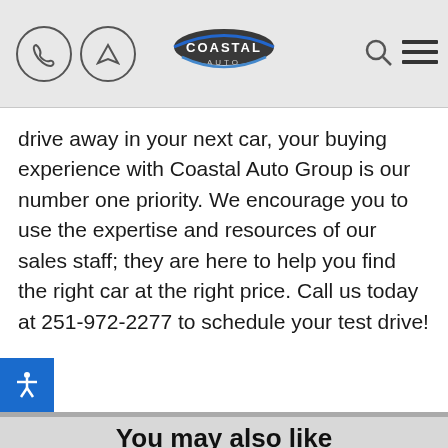Coastal Auto Group header navigation
drive away in your next car, your buying experience with Coastal Auto Group is our number one priority. We encourage you to use the expertise and resources of our sales staff; they are here to help you find the right car at the right price. Call us today at 251-972-2277 to schedule your test drive!
You may also like
[Figure (photo): Gray placeholder image for a car listing]